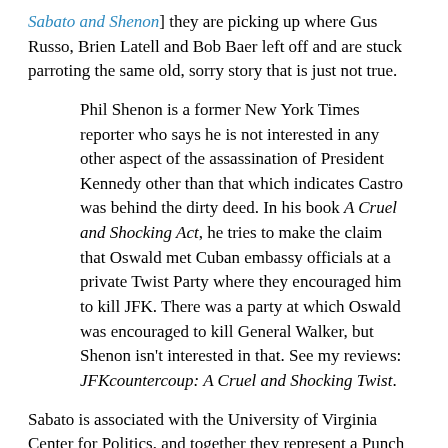Sabato and Shenon] they are picking up where Gus Russo, Brien Latell and Bob Baer left off and are stuck parroting the same old, sorry story that is just not true.
Phil Shenon is a former New York Times reporter who says he is not interested in any other aspect of the assassination of President Kennedy other than that which indicates Castro was behind the dirty deed. In his book A Cruel and Shocking Act, he tries to make the claim that Oswald met Cuban embassy officials at a private Twist Party where they encouraged him to kill JFK. There was a party at which Oswald was encouraged to kill General Walker, but Shenon isn't interested in that. See my reviews: JFKcountercoup: A Cruel and Shocking Twist.
Sabato is associated with the University of Virginia Center for Politics, and together they represent a Punch and Judy show that we will have to get used to. We will have to respond and correct each of their articles, especially as they try to promote the original cover story: the false black propaganda and disinformation campaign to promote the idea that Castro was behind